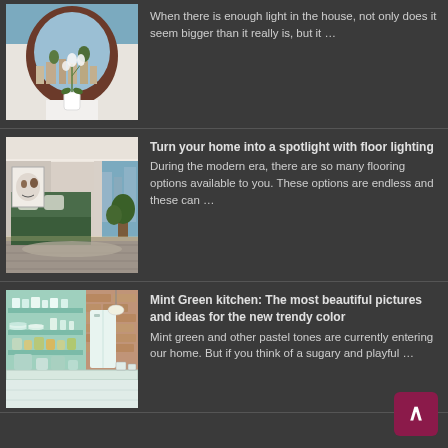[Figure (photo): Interior room with oval window, a potted white orchid plant on a white surface, wooden oval frame, view of cityscape outside]
When there is enough light in the house, not only does it seem bigger than it really is, but it …
[Figure (photo): Modern bedroom interior with floor lighting, green bed, abstract portrait artwork on wall, large windows with city view, plants]
Turn your home into a spotlight with floor lighting
During the modern era, there are so many flooring options available to you. These options are endless and these can …
[Figure (photo): Mint green kitchen with open shelves displaying dishes, cups, and jars, white vintage refrigerator, brick wall accents]
Mint Green kitchen: The most beautiful pictures and ideas for the new trendy color
Mint green and other pastel tones are currently entering our home. But if you think of a sugary and playful …